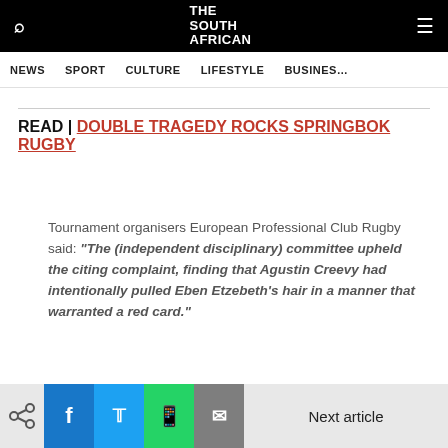THE SOUTH AFRICAN
NEWS | SPORT | CULTURE | LIFESTYLE | BUSINESS
READ | DOUBLE TRAGEDY ROCKS SPRINGBOK RUGBY
Tournament organisers European Professional Club Rugby said: "The (independent disciplinary) committee upheld the citing complaint, finding that Agustin Creevy had intentionally pulled Eben Etzebeth's hair in a manner that warranted a red card."
Next article